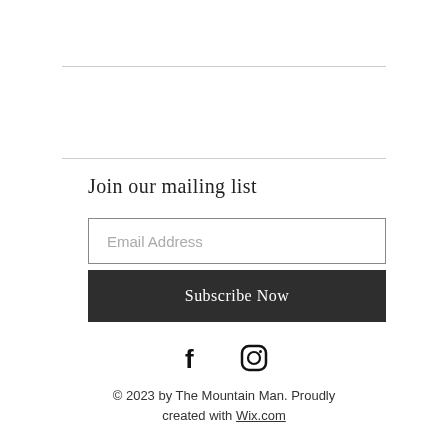Join our mailing list
Email Address
Subscribe Now
[Figure (infographic): Facebook and Instagram social media icons (black)]
© 2023 by The Mountain Man. Proudly created with Wix.com